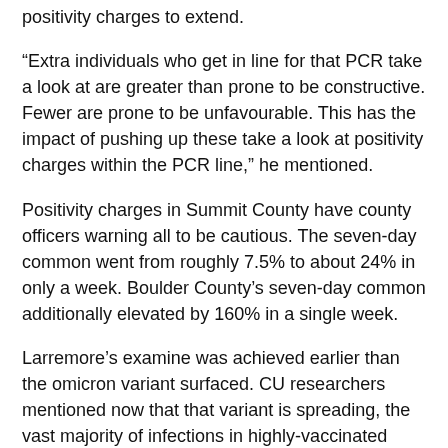positivity charges to extend.
“Extra individuals who get in line for that PCR take a look at are greater than prone to be constructive. Fewer are prone to be unfavourable. This has the impact of pushing up these take a look at positivity charges within the PCR line,” he mentioned.
Positivity charges in Summit County have county officers warning all to be cautious. The seven-day common went from roughly 7.5% to about 24% in only a week. Boulder County’s seven-day common additionally elevated by 160% in a single week.
Larremore’s examine was achieved earlier than the omicron variant surfaced. CU researchers mentioned now that that variant is spreading, the vast majority of infections in highly-vaccinated areas will quickly be breakthrough circumstances.